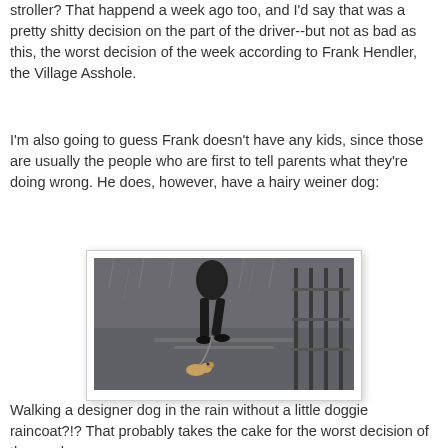stroller?  That happend a week ago too, and I'd say that was a pretty shitty decision on the part of the driver--but not as bad as this, the worst decision of the week according to Frank Hendler, the Village Asshole.
I'm also going to guess Frank doesn't have any kids, since those are usually the people who are first to tell parents what they're doing wrong.  He does, however, have a hairy weiner dog:
[Figure (photo): A person walking a small dog on a leash in the rain on a wet street or bridge, viewed from above. The person is dressed in dark clothing. The dog appears small and fluffy. Metal railing visible on the right.]
Walking a designer dog in the rain without a little doggie raincoat?!?  That probably takes the cake for the worst decision of the week.